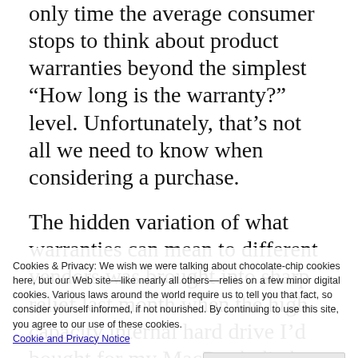only time the average consumer stops to think about product warranties beyond the simplest "How long is the warranty?" level. Unfortunately, that's not all we need to know when considering a purchase.
The hidden variation of what warranties can mean to different vendors was brought into sharp relief last month when the high-capacity internal hard drive I'd bought for my MacBook died, and I discovered that the three-year warranty I thought I had didn't necessarily mean I'd be back up and running any time soon.
Our story begins in July 2006, when I wanted
Cookies & Privacy: We wish we were talking about chocolate-chip cookies here, but our Web site—like nearly all others—relies on a few minor digital cookies. Various laws around the world require us to tell you that fact, so consider yourself informed, if not nourished. By continuing to use this site, you agree to our use of these cookies. Cookie and Privacy Notice